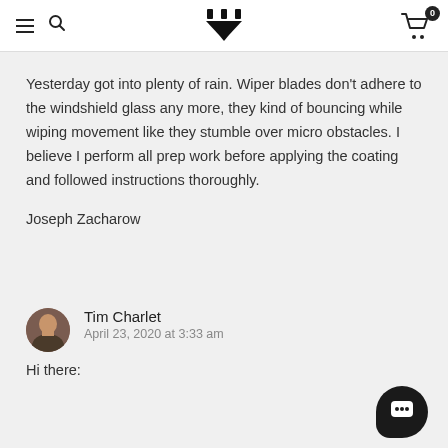Navigation header with hamburger menu, search, logo, and cart icon (0 items)
Yesterday got into plenty of rain. Wiper blades don't adhere to the windshield glass any more, they kind of bouncing while wiping movement like they stumble over micro obstacles. I believe I perform all prep work before applying the coating and followed instructions thoroughly.

Joseph Zacharow
Tim Charlet
April 23, 2020 at 3:33 am

Hi there: